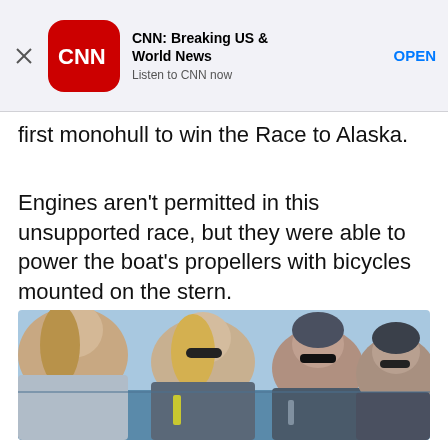[Figure (screenshot): CNN app advertisement banner with CNN logo icon, title 'CNN: Breaking US & World News', subtitle 'Listen to CNN now', and an 'OPEN' button]
first monohull to win the Race to Alaska.
Engines aren’t permitted in this unsupported race, but they were able to power the boat’s propellers with bicycles mounted on the stern.
[Figure (photo): Four women wearing sunglasses and sailing gear/life jackets sitting on a boat deck with water and sky in the background]